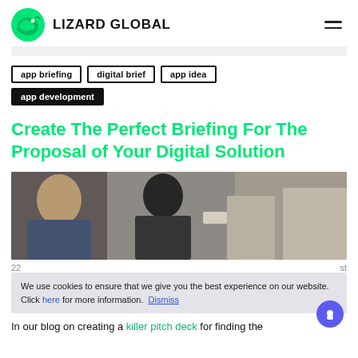LIZARD GLOBAL
app briefing
digital brief
app idea
app development
Create The Perfect Briefing For The Proposal of Your Digital Solution
[Figure (photo): People collaborating around a table in an office setting]
We use cookies to ensure that we give you the best experience on our website. Click here for more information. Dismiss
In our blog on creating a killer pitch deck for finding the